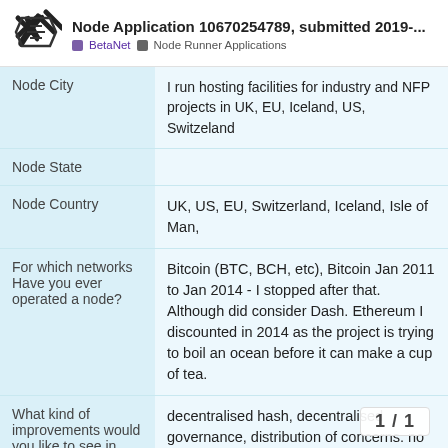Node Application 10670254789, submitted 2019-... BetaNet Node Runner Applications
| Field | Value |
| --- | --- |
| Node City | I run hosting facilities for industry and NFP projects in UK, EU, Iceland, US, Switzeland |
| Node State |  |
| Node Country | UK, US, EU, Switzerland, Iceland, Isle of Man, |
| For which networks Have you ever operated a node? | Bitcoin (BTC, BCH, etc), Bitcoin Jan 2011 to Jan 2014 - I stopped after that. Although did consider Dash. Ethereum I discounted in 2014 as the project is trying to boil an ocean before it can make a cup of tea. |
| What kind of improvements would you like to see in Elixxir nodes vs. previous the previous nodes? | decentralised hash, decentralised governance, distribution of concerns. no bullshit about open source as | |
1 / 1